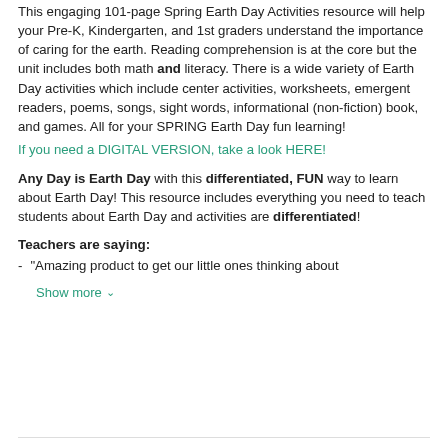This engaging 101-page Spring Earth Day Activities resource will help your Pre-K, Kindergarten, and 1st graders understand the importance of caring for the earth. Reading comprehension is at the core but the unit includes both math and literacy. There is a wide variety of Earth Day activities which include center activities, worksheets, emergent readers, poems, songs, sight words, informational (non-fiction) book, and games. All for your SPRING Earth Day fun learning!
If you need a DIGITAL VERSION, take a look HERE!
Any Day is Earth Day with this differentiated, FUN way to learn about Earth Day! This resource includes everything you need to teach students about Earth Day and activities are differentiated!
Teachers are saying:
"Amazing product to get our little ones thinking about
Show more